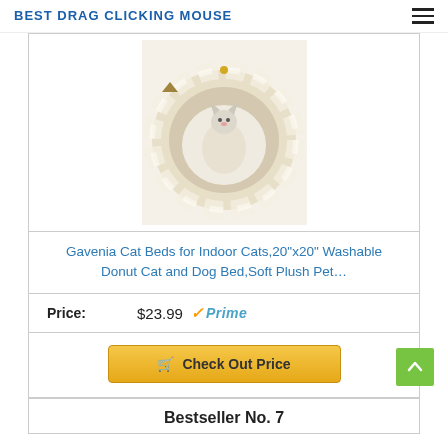BEST DRAG CLICKING MOUSE
[Figure (photo): A white fluffy donut-shaped cat/dog bed with a cat lying inside it, photographed from above on a light background.]
Gavenia Cat Beds for Indoor Cats,20”x20” Washable Donut Cat and Dog Bed,Soft Plush Pet…
Price: $23.99 ✓Prime
Check Out Price
Bestseller No. 7